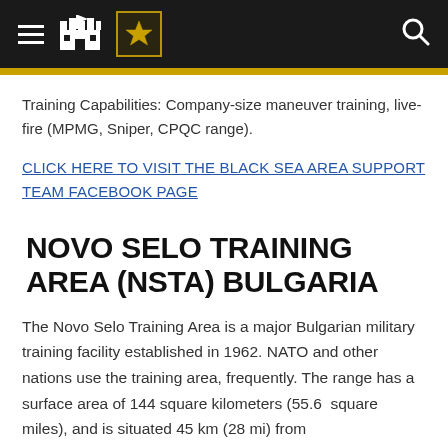[U.S. Army navigation header with hamburger menu, castle icon, Army star logo, and search icon]
Training Capabilities: Company-size maneuver training, live-fire (MPMG, Sniper, CPQC range).
CLICK HERE TO VISIT THE BLACK SEA AREA SUPPORT TEAM FACEBOOK PAGE
NOVO SELO TRAINING AREA (NSTA) BULGARIA
The Novo Selo Training Area is a major Bulgarian military training facility established in 1962. NATO and other nations use the training area, frequently. The range has a surface area of 144 square kilometers (55.6 square miles), and is situated 45 km (28 mi) from